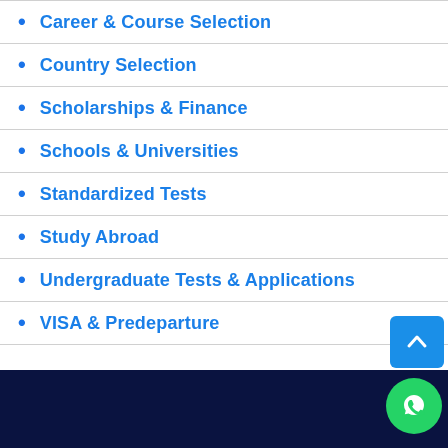Career & Course Selection
Country Selection
Scholarships & Finance
Schools & Universities
Standardized Tests
Study Abroad
Undergraduate Tests & Applications
VISA & Predeparture